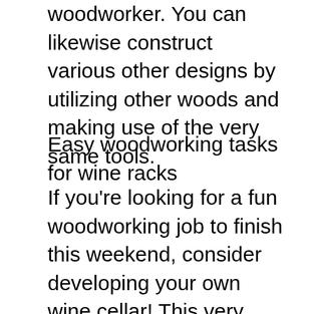woodworker. You can likewise construct various other designs by utilizing other woods and making use of the very same tools.
Easy woodworking tasks for wine racks
If you're looking for a fun woodworking job to finish this weekend, consider developing your own wine cellar! This very easy woodworking job includes developing 2 wine cellar from pallets. One of them will serve as a book shelf while the other is an entranceway item. Pallets are ideal for do-it-yourself jobs due to the fact that they're made from all-natural wood. You can develop your very own pallet wine rack with a jigsaw or scroll saw, however I recommend using a